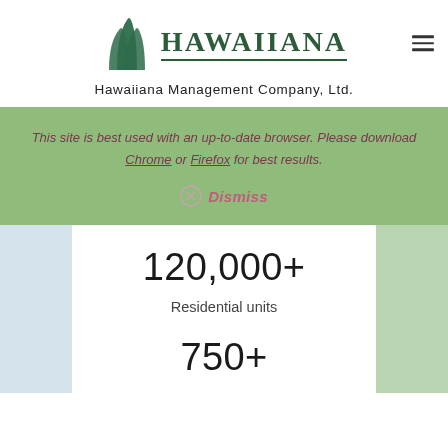[Figure (logo): Hawaiiana Management Company logo with green leaf/building icon and 'HAWAIIANA' text]
Hawaiiana Management Company, Ltd.
This site is best used with an up-to-date browser. Please download Chrome or Firefox for best results.
Dismiss
120,000+
Residential units
750+